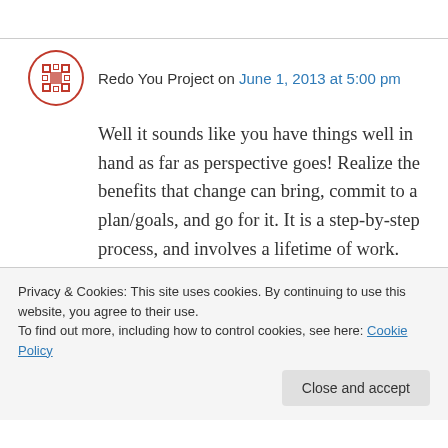Redo You Project on June 1, 2013 at 5:00 pm
Well it sounds like you have things well in hand as far as perspective goes! Realize the benefits that change can bring, commit to a plan/goals, and go for it. It is a step-by-step process, and involves a lifetime of work.

Thank you for following us at the “Redo You” project. We hope you will find helpful and interesting information here. Your blog seems
Privacy & Cookies: This site uses cookies. By continuing to use this website, you agree to their use.
To find out more, including how to control cookies, see here: Cookie Policy